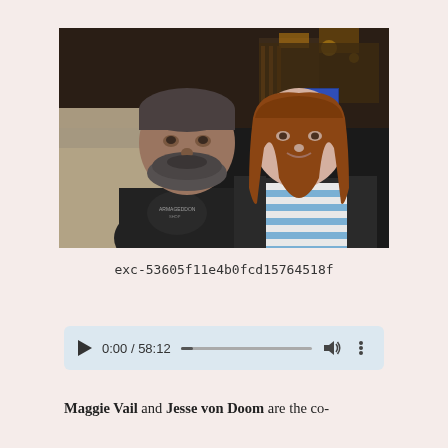[Figure (photo): Two people posing indoors in a dark bar/venue setting. On the left is a man with a beard and short hair wearing a dark t-shirt with text. On the right is a woman with long reddish-brown hair wearing a blue and white striped shirt over a dark top.]
exc-53605f11e4b0fcd15764518f
[Figure (other): Audio player UI showing play button, time 0:00 / 58:12, progress bar, volume icon, and more options icon]
Maggie Vail and Jesse von Doom are the co-